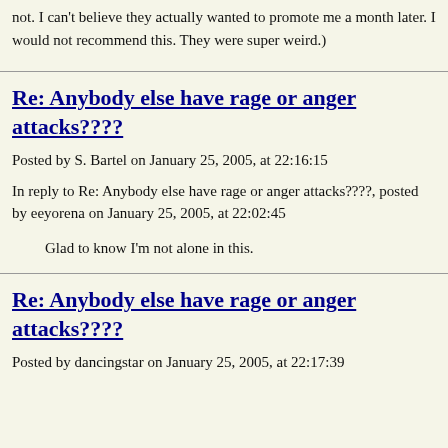not. I can't believe they actually wanted to promote me a month later. I would not recommend this. They were super weird.)
Re: Anybody else have rage or anger attacks????
Posted by S. Bartel on January 25, 2005, at 22:16:15
In reply to Re: Anybody else have rage or anger attacks????, posted by eeyorena on January 25, 2005, at 22:02:45
Glad to know I'm not alone in this.
Re: Anybody else have rage or anger attacks????
Posted by dancingstar on January 25, 2005, at 22:17:39